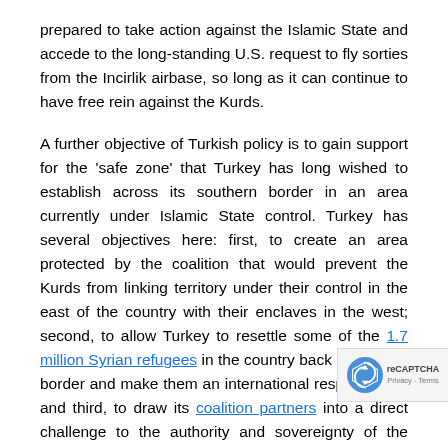prepared to take action against the Islamic State and accede to the long-standing U.S. request to fly sorties from the Incirlik airbase, so long as it can continue to have free rein against the Kurds.

A further objective of Turkish policy is to gain support for the 'safe zone' that Turkey has long wished to establish across its southern border in an area currently under Islamic State control. Turkey has several objectives here: first, to create an area protected by the coalition that would prevent the Kurds from linking territory under their control in the east of the country with their enclaves in the west; second, to allow Turkey to resettle some of the 1.7 million Syrian refugees in the country back across the border and make them an international responsibility; and third, to draw its coalition partners into a direct challenge to the authority and sovereignty of the Assad regime. The impact on Islamic State would be less clear. The U.S. insists that there is no agreement on a no-fly zone, but it seems an
[Figure (other): reCAPTCHA badge overlay in bottom-right corner showing reCAPTCHA logo and 'Privacy - Terms' text]